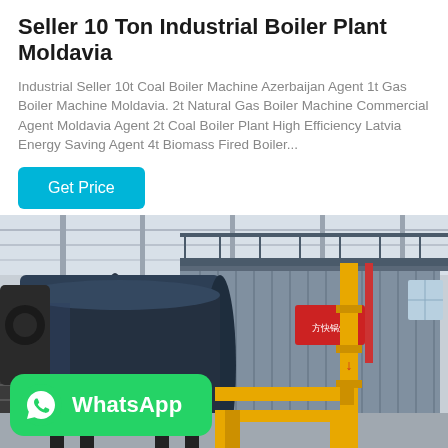Seller 10 Ton Industrial Boiler Plant Moldavia
Industrial Seller 10t Coal Boiler Machine Azerbaijan Agent 1t Gas Boiler Machine Moldavia. 2t Natural Gas Boiler Machine Commercial Agent Moldavia Agent 2t Coal Boiler Plant High Efficiency Latvia Energy Saving Agent 4t Biomass Fired Boiler...
[Figure (photo): Industrial boiler plant photograph showing a large blue cylindrical boiler unit with yellow gas pipes and a corrugated metal container building in a factory/warehouse setting. A WhatsApp contact button overlay is shown at the bottom left.]